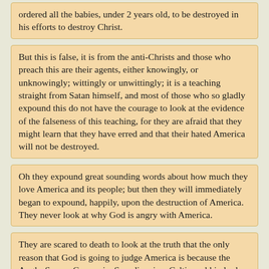ordered all the babies, under 2 years old, to be destroyed in his efforts to destroy Christ.
But this is false, it is from the anti-Christs and those who preach this are their agents, either knowingly, or unknowingly; wittingly or unwittingly; it is a teaching straight from Satan himself, and most of those who so gladly expound this do not have the courage to look at the evidence of the falseness of this teaching, for they are afraid that they might learn that they have erred and that their hated America will not be destroyed.
Oh they expound great sounding words about how much they love America and its people; but then they will immediately began to expound, happily, upon the destruction of America. They never look at why God is angry with America.
They are scared to death to look at the truth that the only reason that God is going to judge America is because the Anglo-Saxon, Germanic, Scandinavian, Celtic and kindred people who formed and made, with God’s help, are the descendants of the children of Israel. For only Israel was given the law; therefore the